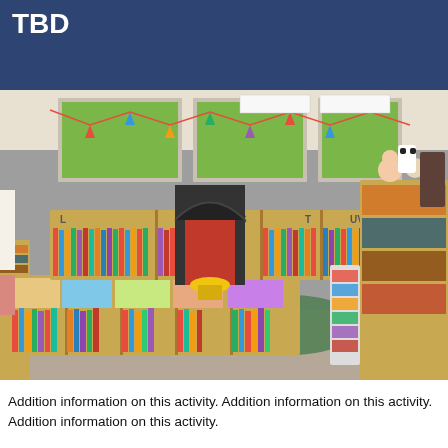TBD
[Figure (photo): Interior of a children's library or classroom library with wooden bookshelves arranged in rows, filled with picture books and children's books. Bookshelves are labeled with letters A, B, L, R, S, T, UV. There is a puppet theater or reading chair with a red curtain in the center, and colorful bunting decorations hang across large windows showing a green outdoor area. A panda stuffed animal and other toys are visible on top of shelves.]
Addition information on this activity. Addition information on this activity. Addition information on this activity.